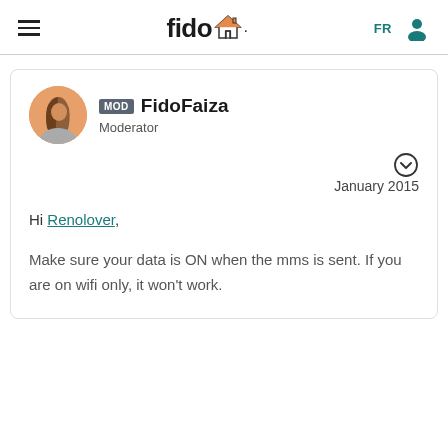[Figure (logo): Fido logo with hamburger menu, house icon, FR language selector, and user profile icon in a navigation header]
MOD FidoFaiza
Moderator
January 2015
Hi Renolover,

Make sure your data is ON when the mms is sent. If you are on wifi only, it won't work.